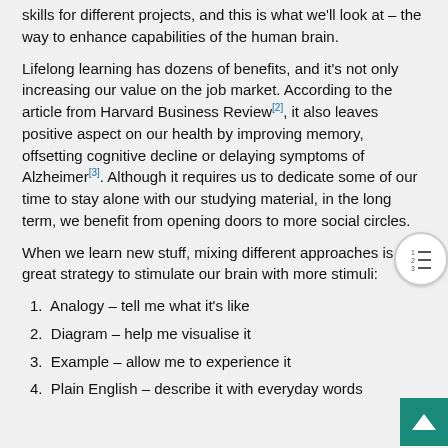skills for different projects, and this is what we'll look at – the way to enhance capabilities of the human brain.
Lifelong learning has dozens of benefits, and it's not only increasing our value on the job market. According to the article from Harvard Business Review[2], it also leaves positive aspect on our health by improving memory, offsetting cognitive decline or delaying symptoms of Alzheimer[3]. Although it requires us to dedicate some of our time to stay alone with our studying material, in the long term, we benefit from opening doors to more social circles.
When we learn new stuff, mixing different approaches is a great strategy to stimulate our brain with more stimuli:
1. Analogy – tell me what it's like
2. Diagram – help me visualise it
3. Example – allow me to experience it
4. Plain English – describe it with everyday words